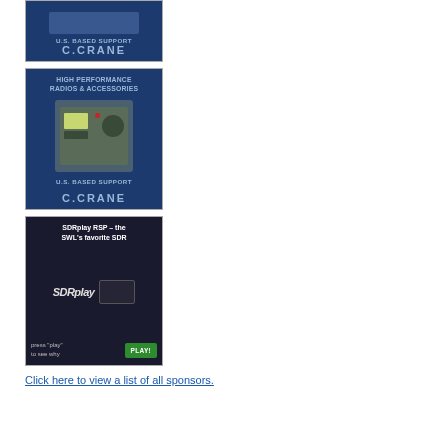[Figure (illustration): C.Crane advertisement banner showing radio device, U.S. Based Support text, and C.CRANE logo on dark blue background]
[Figure (illustration): C.Crane advertisement for High Performance Radios and Accessories showing portable radio image, U.S. Based Support and C.CRANE logo on dark blue background]
[Figure (illustration): SDRplay RSP advertisement with text 'SDRplay RSP – the SWL's favorite SDR', SDRplay logo, device image, and green PLAY button with text press play to see why]
Click here to view a list of all sponsors.